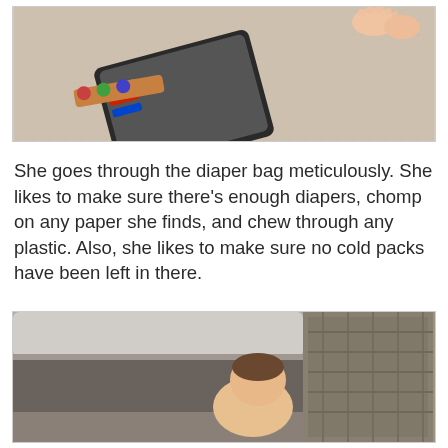[Figure (photo): Baby on carpet with toys and a tablet/book, viewed from above, baby's feet visible]
She goes through the diaper bag meticulously. She likes to make sure there's enough diapers, chomp on any paper she finds, and chew through any plastic. Also, she likes to make sure no cold packs have been left in there.
[Figure (photo): Baby sitting on floor next to a couch/sofa cushion, seen from behind, with dark bow accessory visible]